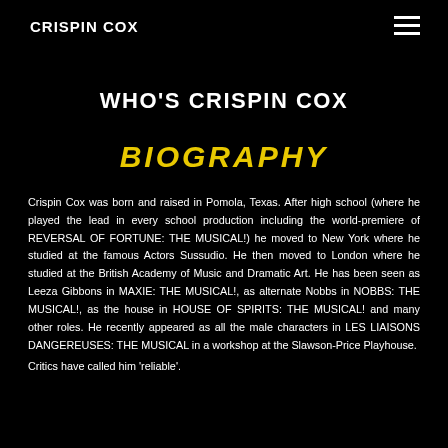CRISPIN COX
WHO'S CRISPIN COX
BIOGRAPHY
Crispin Cox was born and raised in Pomola, Texas. After high school (where he played the lead in every school production including the world-premiere of REVERSAL OF FORTUNE: THE MUSICAL!) he moved to New York where he studied at the famous Actors Sussudio. He then moved to London where he studied at the British Academy of Music and Dramatic Art. He has been seen as Leeza Gibbons in MAXIE: THE MUSICAL!, as alternate Nobbs in NOBBS: THE MUSICAL!, as the house in HOUSE OF SPIRITS: THE MUSICAL! and many other roles. He recently appeared as all the male characters in LES LIAISONS DANGEREUSES: THE MUSICAL in a workshop at the Slawson-Price Playhouse. Critics have called him 'reliable'.